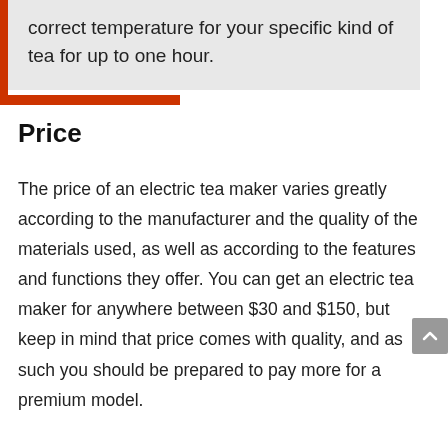correct temperature for your specific kind of tea for up to one hour.
Price
The price of an electric tea maker varies greatly according to the manufacturer and the quality of the materials used, as well as according to the features and functions they offer. You can get an electric tea maker for anywhere between $30 and $150, but keep in mind that price comes with quality, and as such you should be prepared to pay more for a premium model.